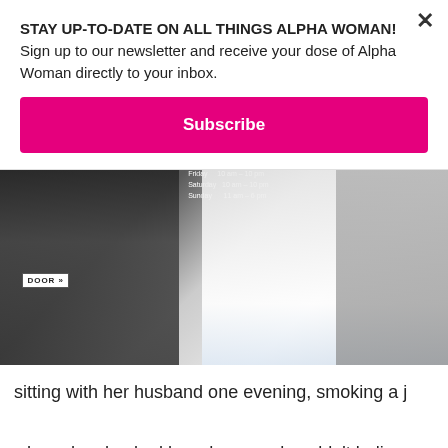STAY UP-TO-DATE ON ALL THINGS ALPHA WOMAN! Sign up to our newsletter and receive your dose of Alpha Woman directly to your inbox.
Subscribe
[Figure (photo): A woman in a white short-sleeve shirt holding a phone, standing outside near a glass door with store hours posted. A backpack and dark vehicle are visible on the left.]
sitting with her husband one evening, smoking a j

when she checked her phone and couldn't believe

her eyes. She had won the right to apply for one of the